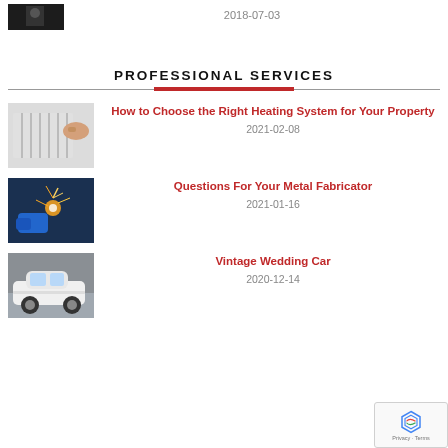[Figure (photo): Partial thumbnail of a man in dark clothing, top of page]
2018-07-03
PROFESSIONAL SERVICES
[Figure (photo): Image of a radiator heating system with a hand adjusting it]
How to Choose the Right Heating System for Your Property
2021-02-08
[Figure (photo): Image of a welder working with sparks flying]
Questions For Your Metal Fabricator
2021-01-16
[Figure (photo): Image of a vintage white wedding car]
Vintage Wedding Car
2020-12-14